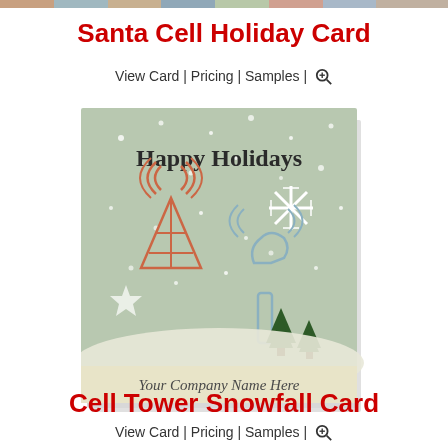Santa Cell Holiday Card
View Card | Pricing | Samples | 🔍
[Figure (illustration): A holiday greeting card preview showing 'Happy Holidays' text, a cell tower with signal waves in red/orange, a snowflake, a wrench with signal waves in light blue, snow dots, pine trees, a star, and a cream bottom band with 'Your Company Name Here' in italic script. The card has a sage green background.]
Cell Tower Snowfall Card
View Card | Pricing | Samples | 🔍